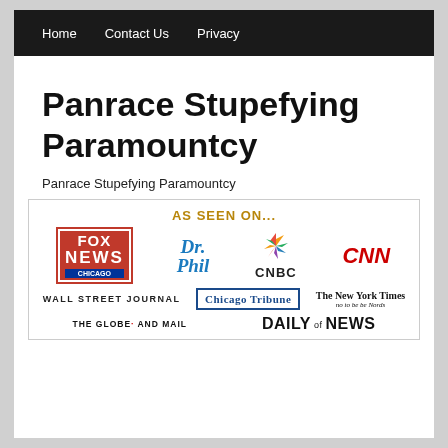Home   Contact Us   Privacy
Panrace Stupefying Paramountcy
Panrace Stupefying Paramountcy
[Figure (infographic): AS SEEN ON... panel with media logos: Fox News Chicago, Dr. Phil, CNBC, CNN, Wall Street Journal, Chicago Tribune, The New York Times, The Globe and Mail, Daily News]